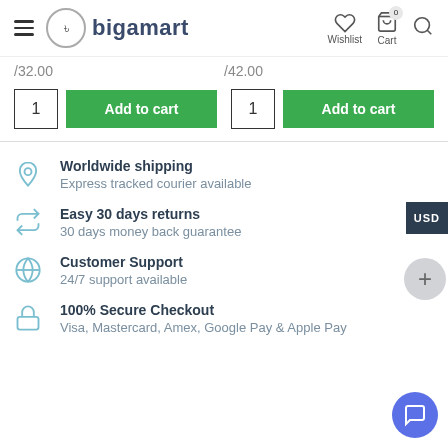bigamart — Wishlist, Cart, Search
1   Add to cart   1   Add to cart
Worldwide shipping — Express tracked courier available
Easy 30 days returns — 30 days money back guarantee
Customer Support — 24/7 support available
100% Secure Checkout — Visa, Mastercard, Amex, Google Pay & Apple Pay